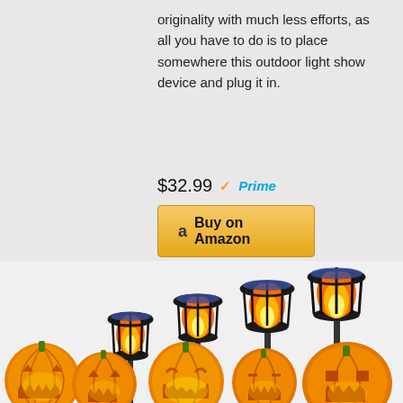originality with much less efforts, as all you have to do is to place somewhere this outdoor light show device and plug it in.
$32.99 ✓Prime
Buy on Amazon
[Figure (photo): Four black cage-style outdoor torch flame lights arranged in ascending height order, with Halloween jack-o-lantern pumpkins in the foreground glowing with carved faces.]